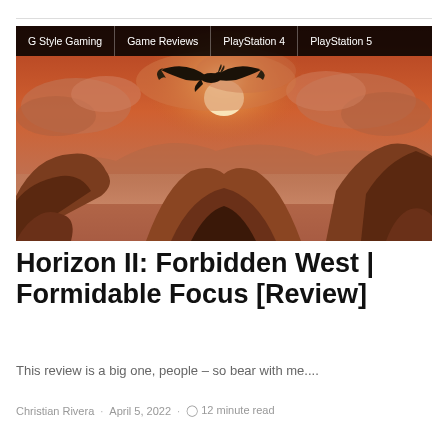[Figure (screenshot): Article header image showing a mechanical bird creature flying over a dramatic canyon landscape with orange/red cloudy sky, from the game Horizon II: Forbidden West. Tags bar at top reads: G Style Gaming | Game Reviews | PlayStation 4 | PlayStation 5]
Horizon II: Forbidden West | Formidable Focus [Review]
This review is a big one, people – so bear with me....
Christian Rivera · April 5, 2022 · 12 minute read